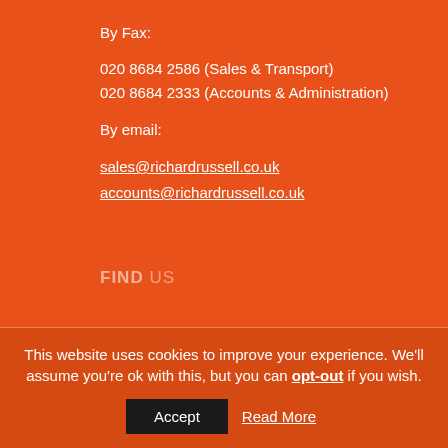By Fax:
020 8684 2586 (Sales & Transport)
020 8684 2333 (Accounts & Administration)
By email:
sales@richardrussell.co.uk
accounts@richardrussell.co.uk
FIND US
This website uses cookies to improve your experience. We'll assume you're ok with this, but you can opt-out if you wish.
Accept   Read More